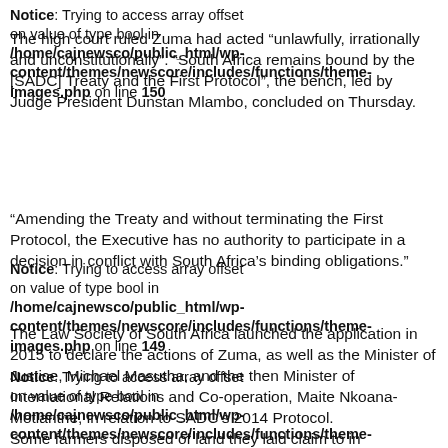Notice: Trying to access array offset on value of type bool in /home/cajnewsco/public_html/wp-content/themes/newscore/includes/functions/theme-images.php on line 150
The high court ruled Zuma had acted “unlawfully, irrationally and unconstitutionally”. “South Africa remains bound by the [SADC] Treaty and the First Protocol”, the bench, led by Judge President Dunstan Mlambo, concluded on Thursday.
“Amending the Treaty and without terminating the First Protocol, the Executive has no authority to participate in a decision in conflict with South Africa’s binding obligations.”
Notice: Trying to access array offset on value of type bool in /home/cajnewsco/public_html/wp-content/themes/newscore/includes/functions/theme-images.php on line 149
The Law Society of South Africa launched the application in 2015 to declare the actions of Zuma, as well as the Minister of Justice, Michael Masutha, and the then Minister of International Relations and Co-operation, Maite Nkoana-Motlanthe, in relation to SADC’s 2014 Protocol.
Notice: Trying to access array offset on value of type bool in /home/cajnewsco/public_html/wp-content/themes/newscore/includes/functions/theme-images.php on line 150
Some farmers disposed of land they laid claim to in